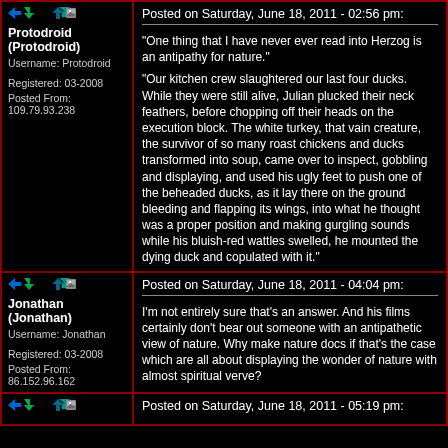Posted on Saturday, June 18, 2011 - 02:56 pm:
"One thing that I have never ever read into Herzog is an antipathy for nature." "Our kitchen crew slaughtered our last four ducks. While they were still alive, Julian plucked their neck feathers, before chopping off their heads on the execution block. The white turkey, that vain creature, the survivor of so many roast chickens and ducks transformed into soup, came over to inspect, gobbling and displaying, and used his ugly feet to push one of the beheaded ducks, as it lay there on the ground bleeding and flapping its wings, into what he thought was a proper position and making gurgling sounds while his bluish-red wattles swelled, he mounted the dying duck and copulated with it."
Protodroid (Protodroid)
Username: Protodroid
Registered: 03-2008
Posted From: 109.79.93.238
Posted on Saturday, June 18, 2011 - 04:04 pm:
I'm not entirely sure that's an answer. And his films certainly don't bear out someone with an antipathetic view of nature. Why make nature docs if that's the case which are all about displaying the wonder of nature with almost spiritual verve?
Jonathan (Jonathan)
Username: Jonathan
Registered: 03-2008
Posted From: 86.152.96.162
Posted on Saturday, June 18, 2011 - 05:19 pm: